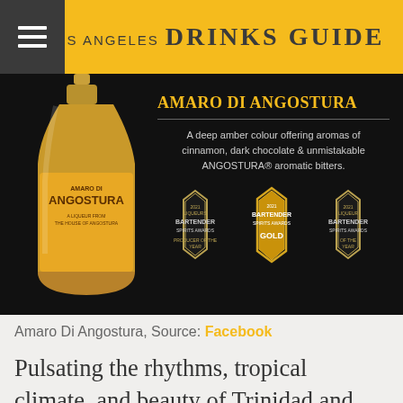LOS ANGELES DRINKS GUIDE
[Figure (photo): Product photo of Amaro Di Angostura bottle on black background with text 'AMARO DI ANGOSTURA - A deep amber colour offering aromas of cinnamon, dark chocolate & unmistakable ANGOSTURA® aromatic bitters.' and three Bartender Spirits Awards badges including a gold badge.]
Amaro Di Angostura, Source: Facebook
Pulsating the rhythms, tropical climate, and beauty of Trinidad and